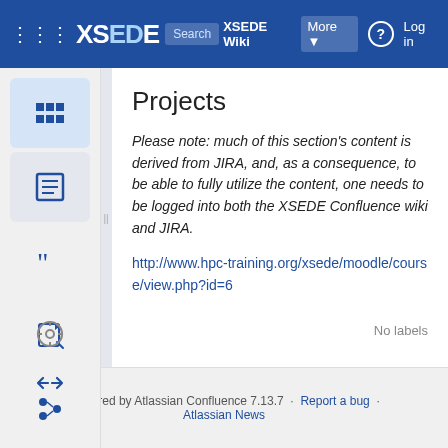XSEDE Wiki · More · Log in
Projects
Please note: much of this section's content is derived from JIRA, and, as a consequence, to be able to fully utilize the content, one needs to be logged into both the XSEDE Confluence wiki and JIRA.
http://www.hpc-training.org/xsede/moodle/course/view.php?id=6
No labels
Powered by Atlassian Confluence 7.13.7 · Report a bug · Atlassian News